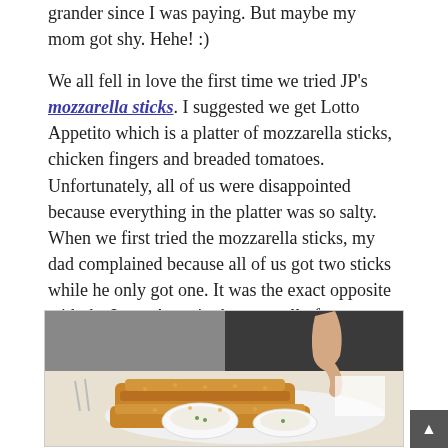grander since I was paying. But maybe my mom got shy. Hehe! :)
We all fell in love the first time we tried JP's mozzarella sticks. I suggested we get Lotto Appetito which is a platter of mozzarella sticks, chicken fingers and breaded tomatoes. Unfortunately, all of us were disappointed because everything in the platter was so salty. When we first tried the mozzarella sticks, my dad complained because all of us got two sticks while he only got one. It was the exact opposite with the Lotto Appetito because all of us were pointing fingers on whom to finish the left-overs on our plate. :(
[Figure (photo): Photo of a platter of fried food items including what appears to be chicken fingers or mozzarella sticks with dipping sauce on a white plate, with a hand reaching in to pick up a piece.]